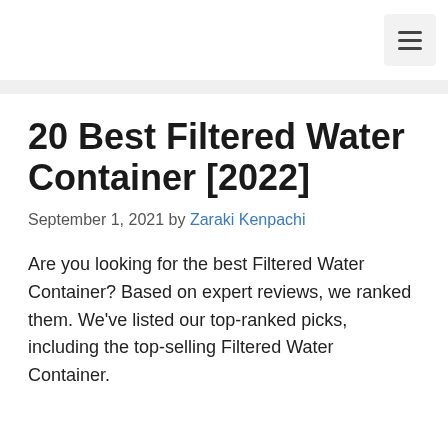≡
20 Best Filtered Water Container [2022]
September 1, 2021 by Zaraki Kenpachi
Are you looking for the best Filtered Water Container? Based on expert reviews, we ranked them. We've listed our top-ranked picks, including the top-selling Filtered Water Container.